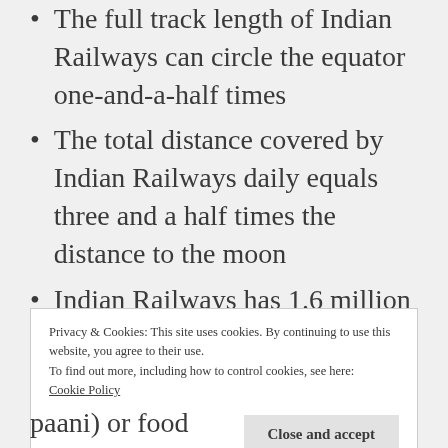The full track length of Indian Railways can circle the equator one-and-a-half times
The total distance covered by Indian Railways daily equals three and a half times the distance to the moon
Indian Railways has 1.6 million employees and carries over 25 million passengers every day
The train was so comfy and fun! The seats fold out into triple-decker bunk beds and I had a
Privacy & Cookies: This site uses cookies. By continuing to use this website, you agree to their use.
To find out more, including how to control cookies, see here: Cookie Policy
Close and accept
paani) or food